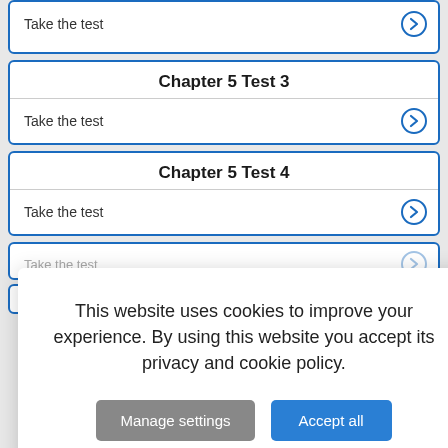Take the test
Chapter 5 Test 3
Take the test
Chapter 5 Test 4
Take the test
This website uses cookies to improve your experience. By using this website you accept its privacy and cookie policy.
Take the test
Chapter 5 Test ...